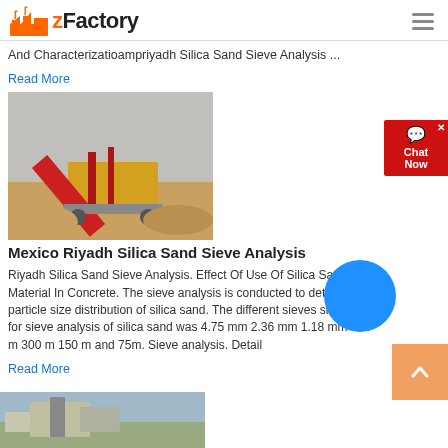zFactory
And Characterizatioampriyadh Silica Sand Sieve Analysis ...
Read More
[Figure (photo): Industrial screening/crushing equipment on sandy terrain, red and yellow machinery]
Mexico Riyadh Silica Sand Sieve Analysis
Riyadh Silica Sand Sieve Analysis. Effect Of Use Of Silica Sand Material In Concrete. The sieve analysis is conducted to determine particle size distribution of silica sand. The different sieves sizes used for sieve analysis of silica sand was 4.75 mm 2.36 mm 1.18 mm 600 m 300 m 150 m and 75m. Sieve analysis. Detail
Read More
[Figure (photo): Partial view of industrial equipment at bottom of page]